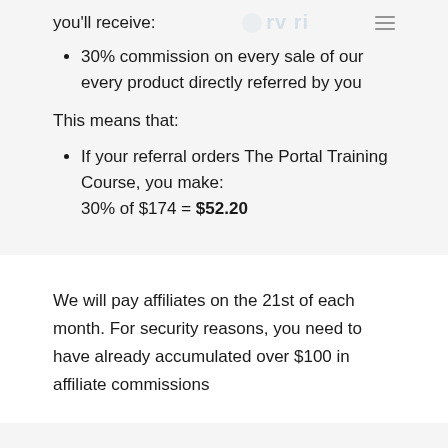you'll receive:
30% commission on every sale of our every product directly referred by you
This means that:
If your referral orders The Portal Training Course, you make: 30% of $174 = $52.20
We will pay affiliates on the 21st of each month. For security reasons, you need to have already accumulated over $100 in affiliate commissions